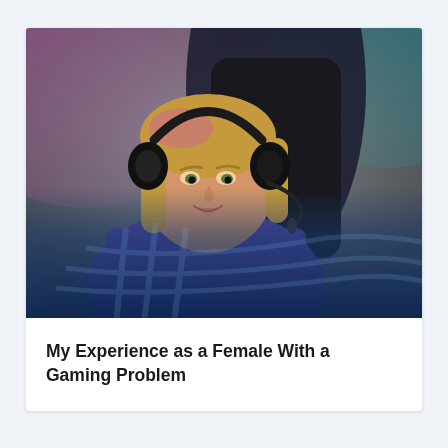[Figure (photo): A young woman with blonde hair wearing a black gaming headset with microphone, sitting in a gaming chair, looking at a screen. The lower portion of the image has a dark blue overlay with diagonal stripe watermark design.]
My Experience as a Female With a Gaming Problem